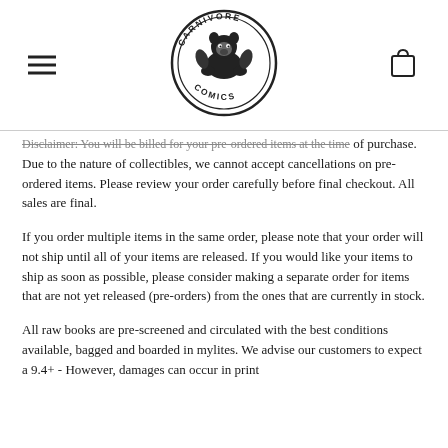[Figure (logo): Carnivore Comics circular logo with a bear/animal illustration in black and white]
Disclaimer: You will be billed for your pre-ordered items at the time of purchase. Due to the nature of collectibles, we cannot accept cancellations on pre-ordered items. Please review your order carefully before final checkout. All sales are final.
If you order multiple items in the same order, please note that your order will not ship until all of your items are released. If you would like your items to ship as soon as possible, please consider making a separate order for items that are not yet released (pre-orders) from the ones that are currently in stock.
All raw books are pre-screened and circulated with the best conditions available, bagged and boarded in mylites. We advise our customers to expect a 9.4+ - However, damages can occur in print